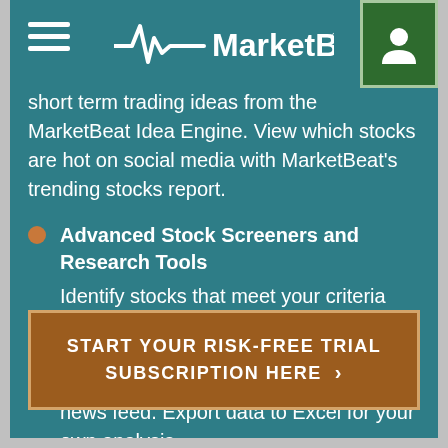MarketBeat
short term trading ideas from the MarketBeat Idea Engine. View which stocks are hot on social media with MarketBeat’s trending stocks report.
Advanced Stock Screeners and Research Tools
Identify stocks that meet your criteria using seven unique stock screeners. See what’s happening in the market right now with MarketBeat’s real-time news feed. Export data to Excel for your own analysis.
START YOUR RISK-FREE TRIAL SUBSCRIPTION HERE ›